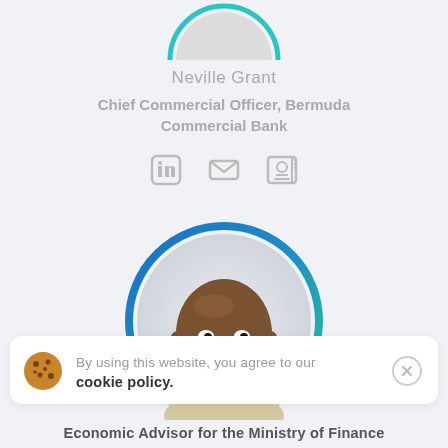[Figure (photo): Circular profile photo of Neville Grant, partially cropped at top of page with teal border]
Neville Grant
Chief Commercial Officer, Bermuda Commercial Bank
[Figure (infographic): Three social/contact icons: LinkedIn, email envelope, and contact card]
[Figure (photo): Circular profile photo of a smiling bald man with gradient blue-to-teal border]
By using this website, you agree to our cookie policy.
Economic Advisor for the Ministry of Finance